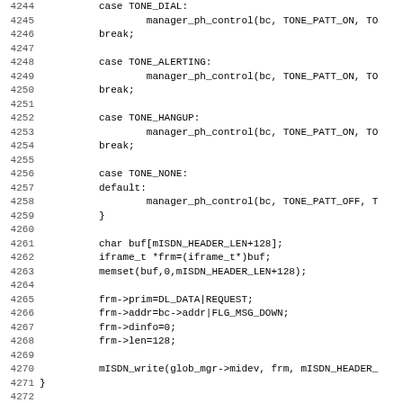[Figure (other): Source code listing in C, showing a switch-case block for tone control and subsequent code for mISDN frame setup and writing, with line numbers 4244-4275.]